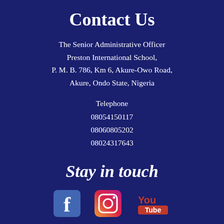Contact Us
The Senior Administrative Officer
Preston International School,
P. M. B. 786, Km 6, Akure-Owo Road,
Akure, Ondo State, Nigeria
Telephone
08054150117
08060805202
08024317643
Stay in touch
[Figure (logo): Facebook, Instagram, and YouTube social media icons]